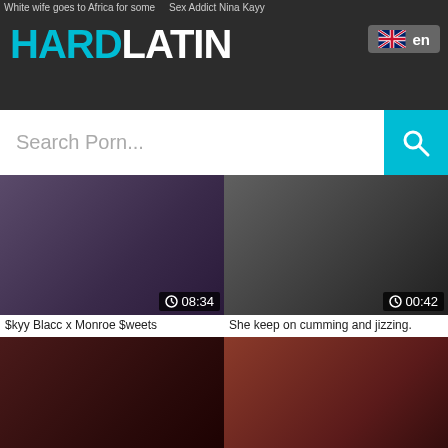HARDLATIN — en
Search Porn...
[Figure (screenshot): Video thumbnail: $kyy Blacc x Monroe $weets, duration 08:34]
$kyy Blacc x Monroe $weets
[Figure (screenshot): Video thumbnail: She keep on cumming and jizzing., duration 00:42]
She keep on cumming and jizzing.
[Figure (screenshot): Video thumbnail: Tight ebony asshole pummeled ha, duration 28:47]
Tight ebony asshole pummeled ha
[Figure (screenshot): Video thumbnail: Ebony muscle babe masturbate, duration 15:33]
Ebony muscle babe masturbate
[Figure (screenshot): Video thumbnail: partial view, duration 00:31]
[Figure (screenshot): Video thumbnail: partial view, duration 00:00]